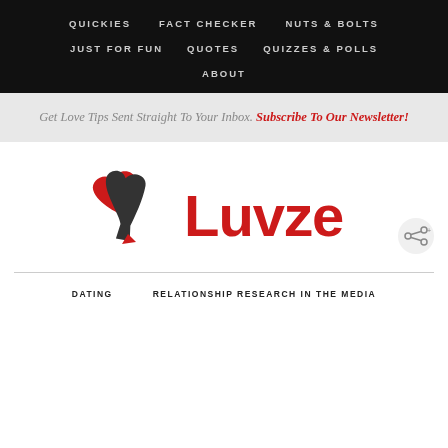QUICKIES   FACT CHECKER   NUTS & BOLTS   JUST FOR FUN   QUOTES   QUIZZES & POLLS   ABOUT
Get Love Tips Sent Straight To Your Inbox. Subscribe To Our Newsletter!
[Figure (logo): Luvze logo — two intertwined red and dark grey heart/stiletto figures with bold red text 'Luvze']
DATING   RELATIONSHIP RESEARCH IN THE MEDIA